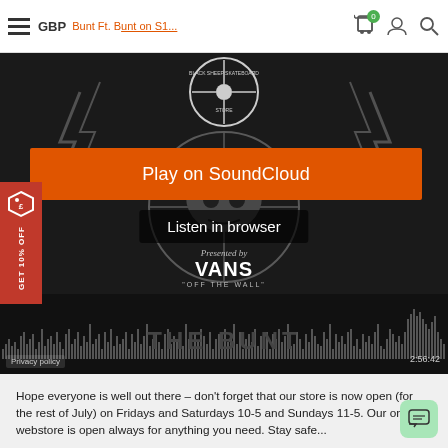GBP | The Bunt Ft. Bunt on S1... | SoundCloud
[Figure (screenshot): SoundCloud embedded player for 'The Bunt' skateboarding podcast presented by Vans. Dark background with Black Sheep Skateboard Store logo, orange 'Play on SoundCloud' button, 'Listen in browser' button, audio waveform visualization, time display 2:56:42, and Vans 'Off The Wall' branding at bottom. Privacy policy link visible at bottom left.]
[Figure (other): Red vertical sidebar promotional banner reading 'GET 10% OFF' with a price tag icon]
Hope everyone is well out there – don't forget that our store is now open (for the rest of July) on Fridays and Saturdays 10-5 and Sundays 11-5. Our online webstore is open always for anything you need. Stay safe...